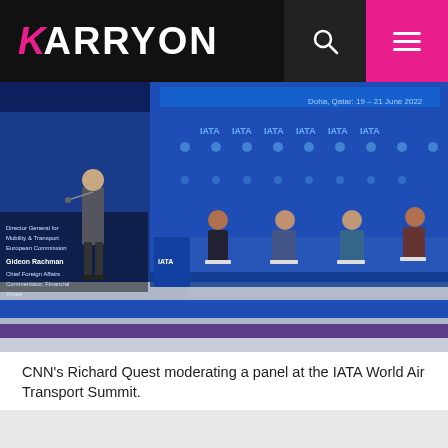KARRYON
[Figure (photo): Conference stage scene at the IATA World Air Transport Summit in Doha, Qatar, 19-21 June 2022. CNN's Richard Quest stands at left moderating a panel of seated speakers against a blue IATA branded backdrop.]
CNN's Richard Quest moderating a panel at the IATA World Air Transport Summit.